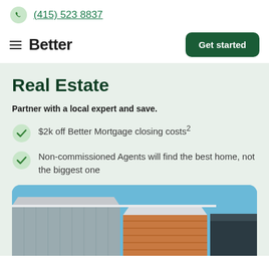(415) 523 8837
Better
Real Estate
Partner with a local expert and save.
$2k off Better Mortgage closing costs²
Non-commissioned Agents will find the best home, not the biggest one
[Figure (photo): Exterior photo of a modern home with metal siding and wood accent panels against a blue sky, labeled Better Real Estate]